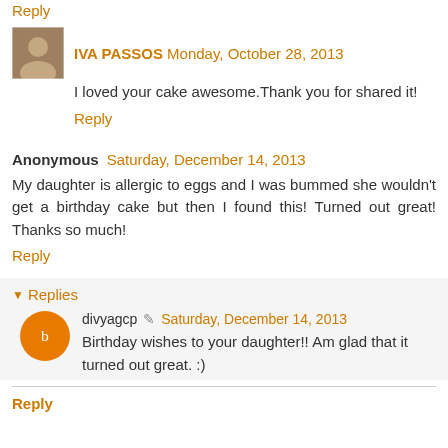Reply
IVA PASSOS  Monday, October 28, 2013
I loved your cake awesome.Thank you for shared it!
Reply
Anonymous  Saturday, December 14, 2013
My daughter is allergic to eggs and I was bummed she wouldn't get a birthday cake but then I found this! Turned out great! Thanks so much!
Reply
Replies
divyagcp  Saturday, December 14, 2013
Birthday wishes to your daughter!! Am glad that it turned out great. :)
Reply